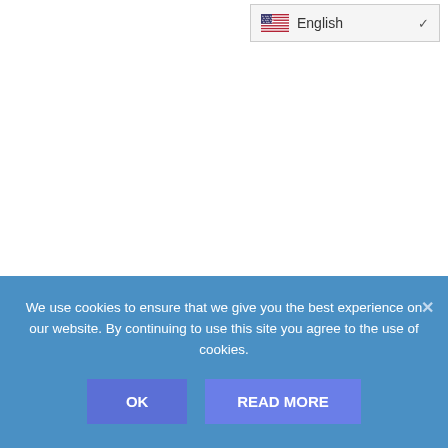[Figure (screenshot): Language selector dropdown showing US flag and 'English' text with a chevron/dropdown arrow, positioned in the top right]
We use cookies to ensure that we give you the best experience on our website. By continuing to use this site you agree to the use of cookies.
OK
READ MORE